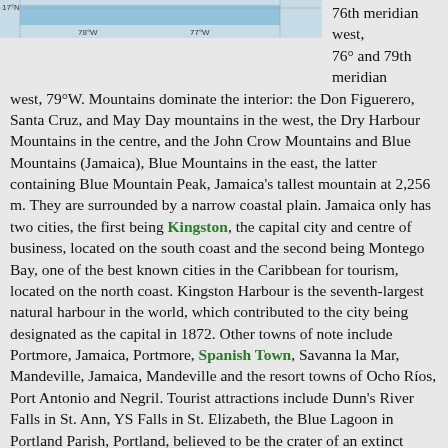[Figure (map): Partial map of Jamaica showing latitude 17°N, longitude markers 78°W and 77°W, with a blue highlighted region]
76th meridian west, 76° and 79th meridian west, 79°W. Mountains dominate the interior: the Don Figuerero, Santa Cruz, and May Day mountains in the west, the Dry Harbour Mountains in the centre, and the John Crow Mountains and Blue Mountains (Jamaica), Blue Mountains in the east, the latter containing Blue Mountain Peak, Jamaica's tallest mountain at 2,256 m. They are surrounded by a narrow coastal plain. Jamaica only has two cities, the first being Kingston, the capital city and centre of business, located on the south coast and the second being Montego Bay, one of the best known cities in the Caribbean for tourism, located on the north coast. Kingston Harbour is the seventh-largest natural harbour in the world, which contributed to the city being designated as the capital in 1872. Other towns of note include Portmore, Jamaica, Portmore, Spanish Town, Savanna la Mar, Mandeville, Jamaica, Mandeville and the resort towns of Ocho Ríos, Port Antonio and Negril. Tourist attractions include Dunn's River Falls in St. Ann, YS Falls in St. Elizabeth, the Blue Lagoon in Portland Parish, Portland, believed to be the crater of an extinct volcano, and Port Royal, site of a major earthquake in 1692 that helped form the island's Palisadoes tombolo. Among the variety of terrestrial,